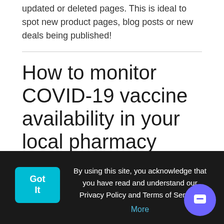updated or deleted pages. This is ideal to spot new product pages, blog posts or new deals being published!
How to monitor COVID-19 vaccine availability in your local pharmacy
Insider Guides / March 11, 2021
By using this site, you acknowledge that you have read and understand our Privacy Policy and Terms of Service. More